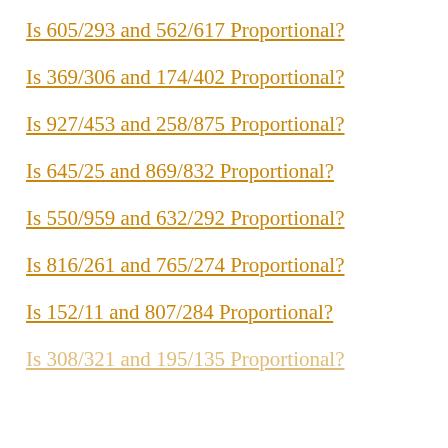Is 605/293 and 562/617 Proportional?
Is 369/306 and 174/402 Proportional?
Is 927/453 and 258/875 Proportional?
Is 645/25 and 869/832 Proportional?
Is 550/959 and 632/292 Proportional?
Is 816/261 and 765/274 Proportional?
Is 152/11 and 807/284 Proportional?
Is 308/321 and 195/135 Proportional?